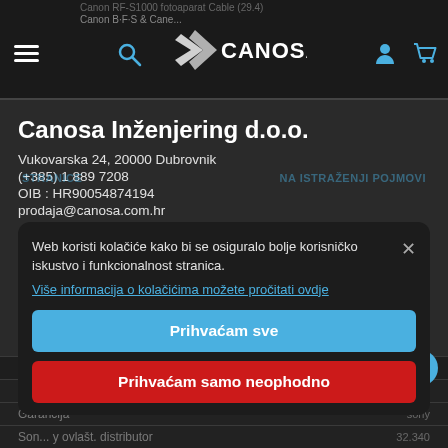Canosa - Canon fotoaparatl Cable (29.4)
[Figure (logo): Canosa logo with stylized arrow and text CANOSA in white on dark background, navigation icons including hamburger menu, search, user, and cart icons]
Canosa Inženjering d.o.o.
Vukovarska 24, 20000 Dubrovnik
(+385) 1 889 7208
OIB: HR90054874194
prodaja@canosa.com.hr
Web koristi kolačiće kako bi se osiguralo bolje korisničko iskustvo i funkcionalnost stranica.
Više informacija o kolačićima možete pročitati ovdje
Prihvaćam sve
Prihvaćam samo neophodno
STRANICE
NA STRAŽENJI POJMOVI
Uvjeti kupro prodaje
Garancija
Sony ovlast. distribitor
Dostava
Kako kupovsti?